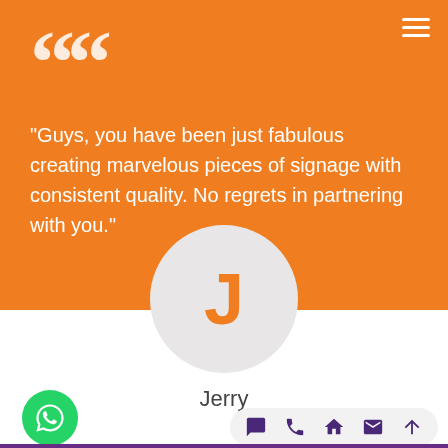[Figure (screenshot): Orange background testimonial section with large white quote marks icon in top-left corner]
"Guys, you have been just fabulous creating marvelous pieces of signage with consistent quality. No regrets in partnering with you."
[Figure (illustration): Circular avatar with letter J on light grey background]
Jerry
[Figure (infographic): Bottom navigation bar with chat, phone, home, mail, and up-arrow icons in purple on light grey rounded rectangle, and green WhatsApp button on left]